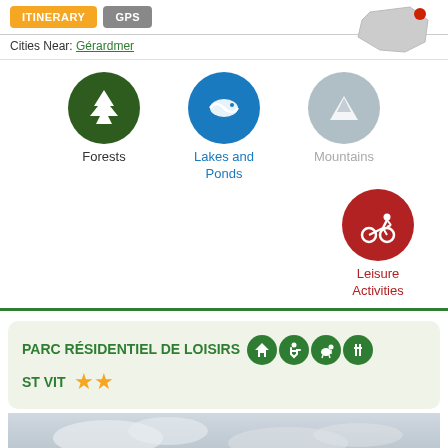[Figure (infographic): Navigation bar with ITINERARY (yellow) and GPS (gray) buttons, and a small map thumbnail with a red dot]
Cities Near: Gérardmer
[Figure (infographic): Three circular icons: green Forests icon, blue Lakes and Ponds icon, gray Mountains icon]
[Figure (infographic): Red circular icon with cyclist: Leisure Activities]
PARC RÉSIDENTIEL DE LOISIRS ST VIT ★★
[Figure (photo): Outdoor photo of trees and buildings against a cloudy sky]